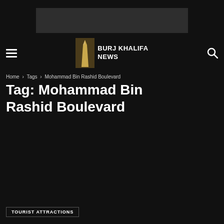[Figure (other): Advertisement banner placeholder, dark gray rectangle]
BURJ KHALIFA NEWS
Home › Tags › Mohammad Bin Rashid Boulevard
Tag: Mohammad Bin Rashid Boulevard
TOURIST ATTRACTIONS